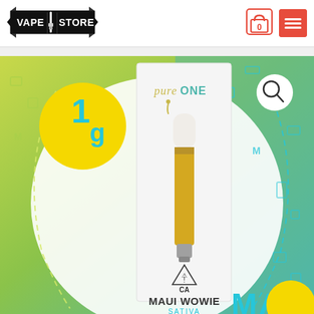[Figure (logo): Vape Store logo — black banner with 'VAPE STORE' text and vape pen icon]
[Figure (screenshot): E-commerce product page showing a Pure One Maui Wowie Sativa 1g vape cartridge in white and gold packaging with teal/yellow gradient background. Text on product box reads 'pure ONE', 'MAUI WOWIE', 'SATIVA', 'NET WEIGHT: 1000MG / 0.03530Z', CA cannabis warning symbol. Yellow circle badge shows '1g'. Teal 'MAUI' text visible bottom right. White circle decorative element in background. Cart icon shows 0 items. Red menu hamburger button top right.]